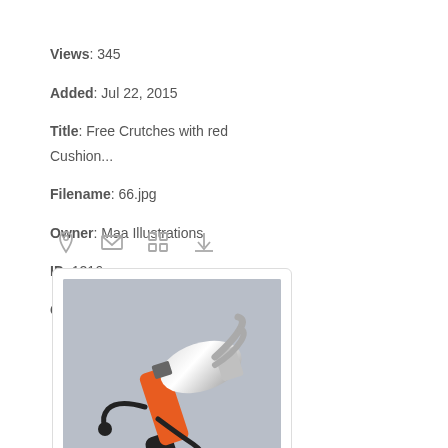Views: 345
Added: Jul 22, 2015
Title: Free Crutches with red Cushion...
Filename: 66.jpg
Owner: Maa Illustrations
ID: 1216
Created: N/A
[Figure (illustration): Row of small grey icons: location pin, envelope/email, grid/apps, download arrow]
[Figure (illustration): Illustration of an animated hammer character with an orange and black handle on a grey background]